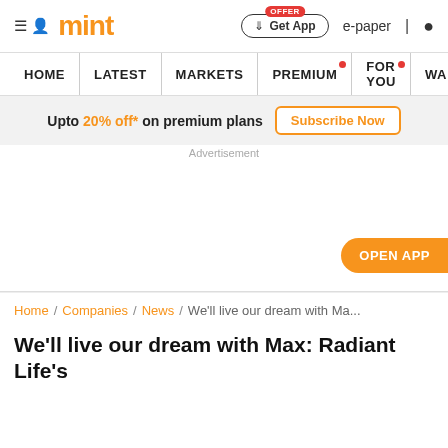mint
HOME | LATEST | MARKETS | PREMIUM | FOR YOU | WA...
Upto 20% off* on premium plans  Subscribe Now
Advertisement
[Figure (other): OPEN APP button on the right side of an advertisement area]
Home / Companies / News / We'll live our dream with Ma...
We'll live our dream with Max: Radiant Life's